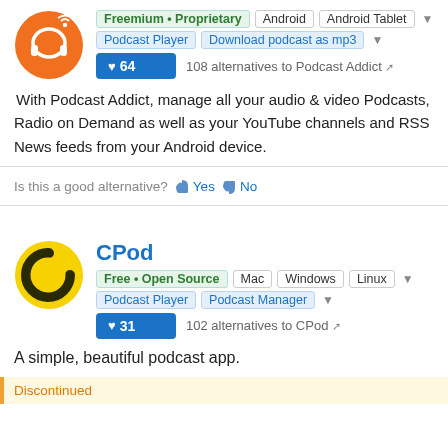[Figure (logo): Podcast Addict orange logo with headphone icon]
Freemium • Proprietary  Android  Android Tablet
Podcast Player  Download podcast as mp3
♥ 64  108 alternatives to Podcast Addict
With Podcast Addict, manage all your audio & video Podcasts, Radio on Demand as well as your YouTube channels and RSS News feeds from your Android device.
Is this a good alternative? 👍 Yes 👎 No
CPod
[Figure (logo): CPod yellow circular logo with C letter]
Free • Open Source  Mac  Windows  Linux
Podcast Player  Podcast Manager
♥ 31  102 alternatives to CPod
A simple, beautiful podcast app.
Discontinued